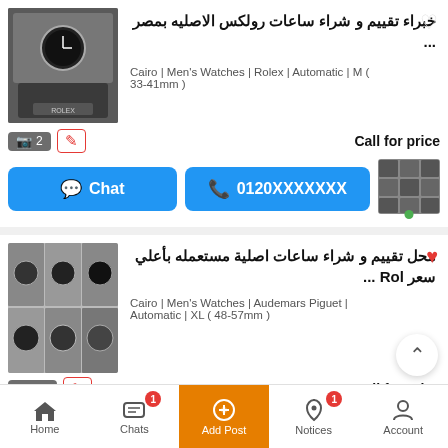[Figure (photo): Photo of Rolex watch in box]
خبراء تقييم و شراء ساعات رولكس الاصليه بمصر ...
Cairo | Men's Watches | Rolex | Automatic | M ( 33-41mm )
Call for price
Chat
0120XXXXXXX
[Figure (photo): Grid of various luxury watches]
محل تقييم و شراء ساعات اصلية مستعمله بأعلي سعر Rol ...
Cairo | Men's Watches | Audemars Piguet | Automatic | XL ( 48-57mm )
Call for price
Home   Chats   Add Post   Notices   Account